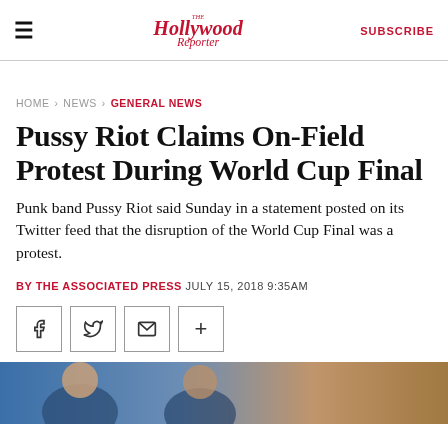The Hollywood Reporter | SUBSCRIBE
HOME > NEWS > GENERAL NEWS
Pussy Riot Claims On-Field Protest During World Cup Final
Punk band Pussy Riot said Sunday in a statement posted on its Twitter feed that the disruption of the World Cup Final was a protest.
BY THE ASSOCIATED PRESS JULY 15, 2018 9:35AM
[Figure (other): Social share buttons: Facebook, Twitter, Email, More]
[Figure (photo): Partial photo of people, likely related to Pussy Riot story]